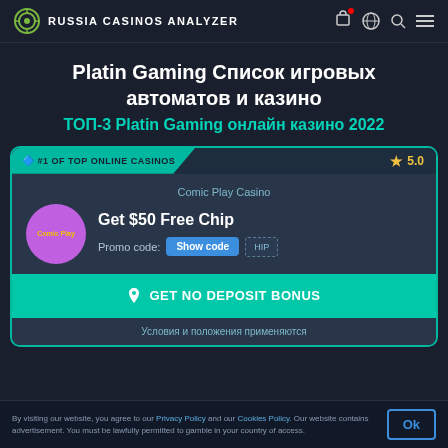RUSSIA CASINOS ANALYZER
Platin Gaming Список игровых автоматов и казино
ТОП-3 Platin Gaming онлайн казино 2022
[Figure (screenshot): Casino card for Comic Play Casino showing #1 OF TOP ONLINE CASINOS badge, 5.0 star rating, Get $50 Free Chip offer, Promo code with Show code button, and GET NO DEPOSIT BONUS call-to-action button]
Условия и положения применяются
By visiting our website, you agree to our Privacy Policy and our Cookies Policy. Our website contains advertisement. You must be lawfully permitted to gamble in your country of access.